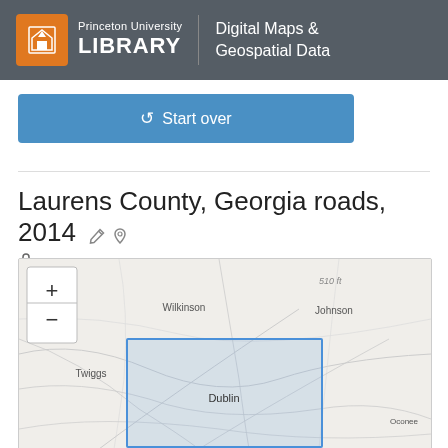Princeton University LIBRARY | Digital Maps & Geospatial Data
Start over
Laurens County, Georgia roads, 2014
[Figure (map): Interactive map showing Laurens County, Georgia with surrounding counties. A blue rectangle outlines the Laurens County area. County labels visible include Wilkinson, Johnson, Twiggs, and Oconee. 'Dublin' is labeled within the blue bounding box. Map includes zoom +/- controls and elevation label '510 ft'.]